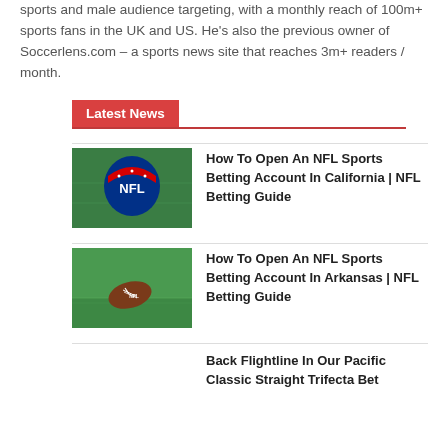sports and male audience targeting, with a monthly reach of 100m+ sports fans in the UK and US. He's also the previous owner of Soccerlens.com – a sports news site that reaches 3m+ readers / month.
Latest News
[Figure (photo): NFL logo on football field]
How To Open An NFL Sports Betting Account In California | NFL Betting Guide
[Figure (photo): NFL football on green grass field]
How To Open An NFL Sports Betting Account In Arkansas | NFL Betting Guide
Back Flightline In Our Pacific Classic Straight Trifecta Bet